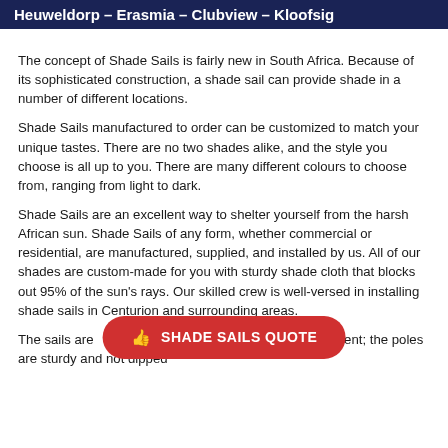Heuweldorp – Erasmia – Clubview – Kloofsig
The concept of Shade Sails is fairly new in South Africa. Because of its sophisticated construction, a shade sail can provide shade in a number of different locations.
Shade Sails manufactured to order can be customized to match your unique tastes. There are no two shades alike, and the style you choose is all up to you. There are many different colours to choose from, ranging from light to dark.
Shade Sails are an excellent way to shelter yourself from the harsh African sun. Shade Sails of any form, whether commercial or residential, are manufactured, supplied, and installed by us. All of our shades are custom-made for you with sturdy shade cloth that blocks out 95% of the sun's rays. Our skilled crew is well-versed in installing shade sails in Centurion and surrounding areas.
The sails are ... gy and equipment; the poles are sturdy and not dipped
[Figure (other): Red rounded button with thumbs-up icon and text SHADE SAILS QUOTE]